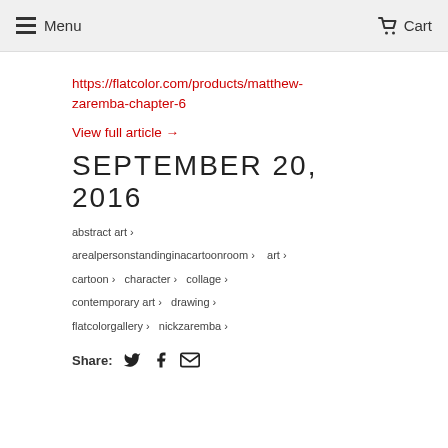Menu   Cart
https://flatcolor.com/products/matthew-zaremba-chapter-6
View full article →
SEPTEMBER 20, 2016
abstract art ›
arealpersonstandinginacartoonroom ›   art ›
cartoon ›   character ›   collage ›
contemporary art ›   drawing ›
flatcolorgallery ›   nickzaremba ›
Share: